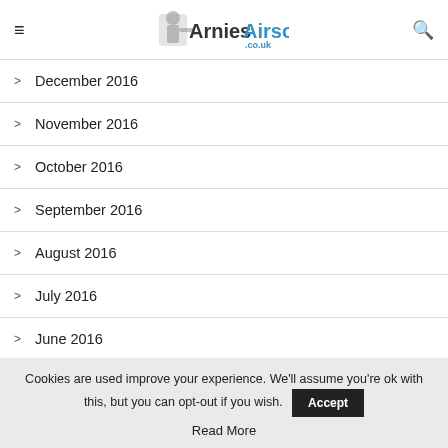ArniesAirsoft.co.uk
December 2016
November 2016
October 2016
September 2016
August 2016
July 2016
June 2016
Cookies are used improve your experience. We'll assume you're ok with this, but you can opt-out if you wish. Accept Read More